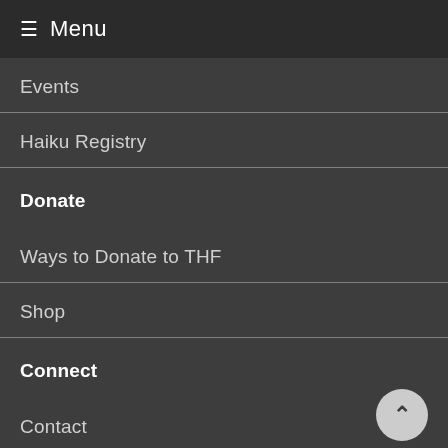≡ Menu
Events
Haiku Registry
Donate
Ways to Donate to THF
Shop
Connect
Contact